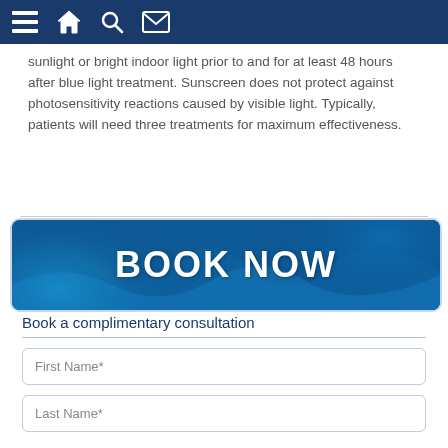Navigation bar with menu, home, search, and mail icons
sunlight or bright indoor light prior to and for at least 48 hours after blue light treatment. Sunscreen does not protect against photosensitivity reactions caused by visible light. Typically, patients will need three treatments for maximum effectiveness.
[Figure (illustration): BOOK NOW banner with blue water/wave background and bold white text reading BOOK NOW]
Book a complimentary consultation
First Name*
Last Name*